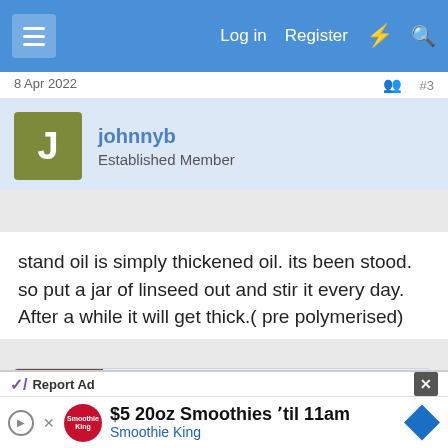Log in   Register
8 Apr 2022   #3
johnnyb
Established Member
stand oil is simply thickened oil. its been stood. so put a jar of linseed out and stir it every day. After a while it will get thick.( pre polymerised)
[Figure (screenshot): Link preview card for 'How to make sun thickened linseed oil - Da...' from danieljamesyeomans.com with thumbnail image and description text]
Report Ad
$5 20oz Smoothies 'til 11am
Smoothie King